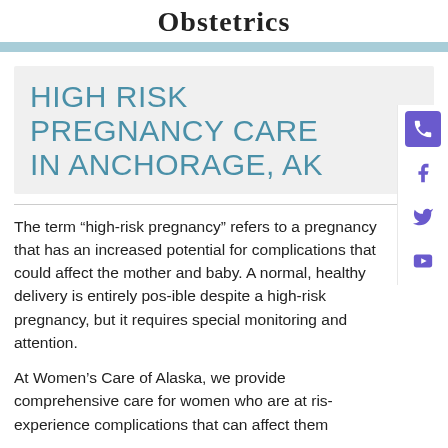Obstetrics
HIGH RISK PREGNANCY CARE IN ANCHORAGE, AK
The term “high-risk pregnancy” refers to a pregnancy that has an increased potential for complications that could affect the mother and baby. A normal, healthy delivery is entirely possible despite a high-risk pregnancy, but it requires special monitoring and attention.
At Women’s Care of Alaska, we provide comprehensive care for women who are at risk experience complications that can affect them